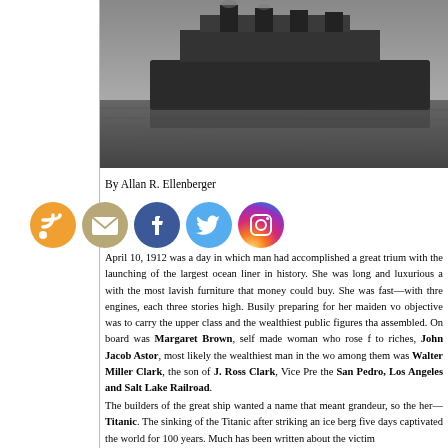[Figure (photo): Black and white photograph of a large ocean liner, the Titanic, at sea with water visible below]
By Allan R. Ellenberger
[Figure (infographic): Row of five social media icon buttons: RSS (orange), Email (tan/gold), Facebook (blue), Twitter (light blue), Instagram (pink/purple gradient)]
April 10, 1912 was a day in which man had accomplished a great triumph with the launching of the largest ocean liner in history. She was long and luxurious and fitted with the most lavish furniture that money could buy. She was fast—with three massive engines, each three stories high. Busily preparing for her maiden voyage, her objective was to carry the upper class and the wealthiest public figures that money had assembled. On board was Margaret Brown, self made woman who rose from rags to riches, John Jacob Astor, most likely the wealthiest man in the world, and among them was Walter Miller Clark, the son of J. Ross Clark, Vice President of the San Pedro, Los Angeles and Salt Lake Railroad.
The builders of the great ship wanted a name that meant grandeur, so they called her—Titanic. The sinking of the Titanic after striking an ice berg five days later captivated the world for 100 years. Much has been written about the victims...